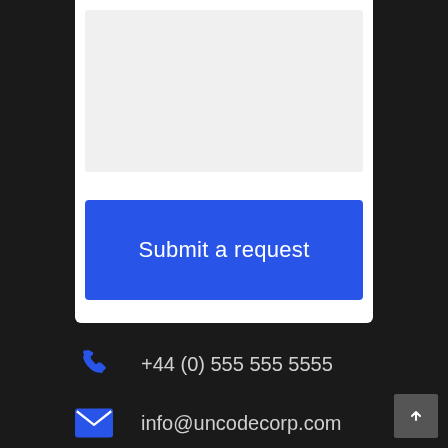[Figure (screenshot): White form card area with a light gray textarea input field at the top]
Submit a request
+44 (0) 555 555 5555
info@uncodecorp.com